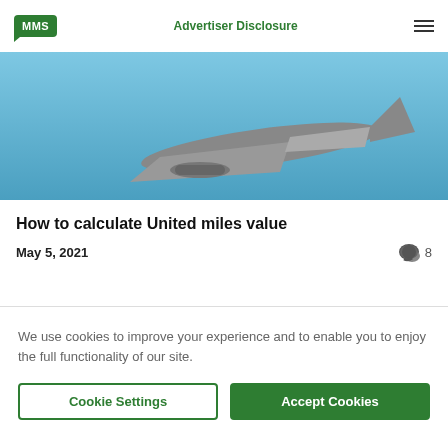MMS | Advertiser Disclosure
[Figure (photo): Airplane flying against blue sky, bottom portion of aircraft visible]
How to calculate United miles value
May 5, 2021   8
[Figure (photo): Interior of airplane cabin showing rows of gray seats with headrest tags and window light]
We use cookies to improve your experience and to enable you to enjoy the full functionality of our site.
Cookie Settings   Accept Cookies